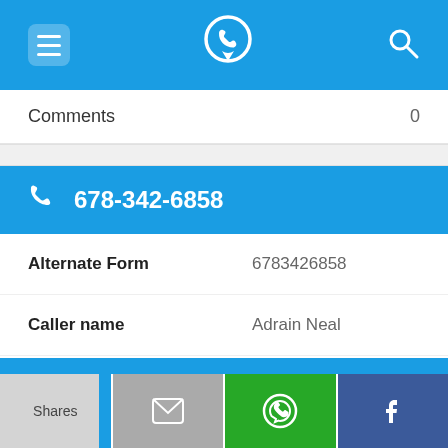[Figure (screenshot): Top navigation bar with menu icon, phone/location app logo, and search icon on blue background]
Comments	0
[Figure (screenshot): Blue bar showing phone number 678-342-6858 with phone icon]
| Alternate Form | 6783426858 |
| Caller name | Adrain Neal |
| Last User Search | No searches yet |
| Comments | 0 |
[Figure (screenshot): Bottom share bar with Shares, email, WhatsApp, and Facebook icons]